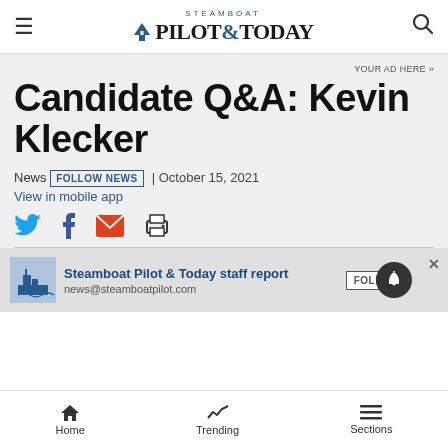Steamboat Pilot & Today — navigation header
YOUR AD HERE »
Candidate Q&A: Kevin Klecker
News  FOLLOW NEWS  | October 15, 2021
View in mobile app
Social share icons: Twitter, Facebook, Email, Print
Steamboat Pilot & Today staff report  FOLLOW
news@steamboatpilot.com
Home  Trending  Sections